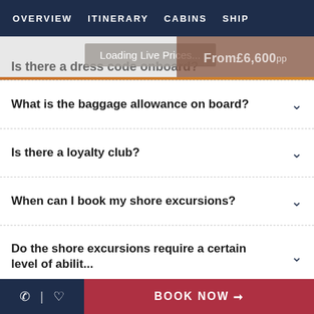OVERVIEW  ITINERARY  CABINS  SHIP
Loading Live Prices...  From £6,600pp
Is there a dress code onboard?
What is the baggage allowance on board?
Is there a loyalty club?
When can I book my shore excursions?
Do the shore excursions require a certain level of ability?
BOOK NOW →